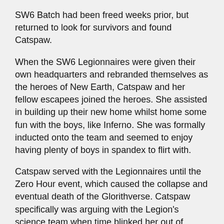SW6 Batch had been freed weeks prior, but returned to look for survivors and found Catspaw.
When the SW6 Legionnaires were given their own headquarters and rebranded themselves as the heroes of New Earth, Catspaw and her fellow escapees joined the heroes. She assisted in building up their new home whilst home some fun with the boys, like Inferno. She was formally inducted onto the team and seemed to enjoy having plenty of boys in spandex to flirt with.
Catspaw served with the Legionnaires until the Zero Hour event, which caused the collapse and eventual death of the Glorithverse. Catspaw specifically was arguing with the Legion's science team when time blinked her out of existence, replacing her with Inferno and making her one of the earlier casualties to the timestream.
Reboot/ Earth-247